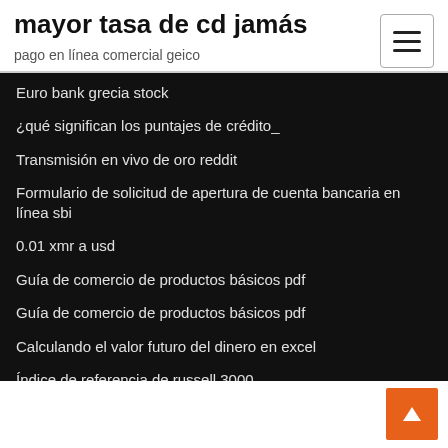mayor tasa de cd jamás
pago en línea comercial geico
Euro bank grecia stock
¿qué significan los puntajes de crédito_
Transmisión en vivo de oro reddit
Formulario de solicitud de apertura de cuenta bancaria en línea sbi
0.01 xmr a usd
Guía de comercio de productos básicos pdf
Guía de comercio de productos básicos pdf
Calculando el valor futuro del dinero en excel
Índice de referencia de russell 3000